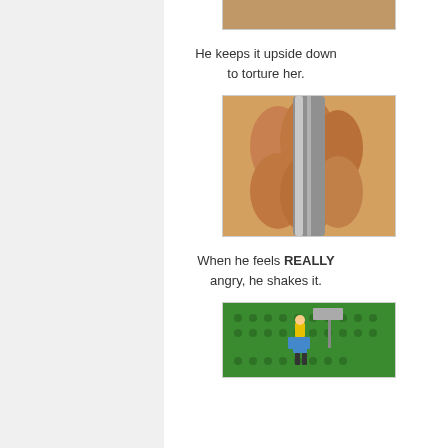[Figure (photo): Close-up photo of fingers holding a cylindrical object upside down]
He keeps it upside down to torture her.
[Figure (photo): Close-up photo of fingers gripping a shiny cylindrical container]
When he feels REALLY angry, he shakes it.
[Figure (photo): LEGO figures on a green baseplate scene]